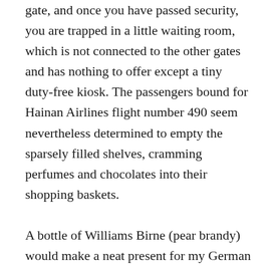gate, and once you have passed security, you are trapped in a little waiting room, which is not connected to the other gates and has nothing to offer except a tiny duty-free kiosk. The passengers bound for Hainan Airlines flight number 490 seem nevertheless determined to empty the sparsely filled shelves, cramming perfumes and chocolates into their shopping baskets.

A bottle of Williams Birne (pear brandy) would make a neat present for my German host in Beijing. Waiting in the long line in front of the cash register, I witness some desperate conversations in Chinese. One lady only managed to snatch one box of Belgian chocolates and tried to ask the shop assistant for another one. "ไม่มีแล้วไม่มีแล้ว,"she complains (I don’t understand her and she does not understand me). I offer to help.  Soon the whole travel group (Europe, eight countries in twelve days) has